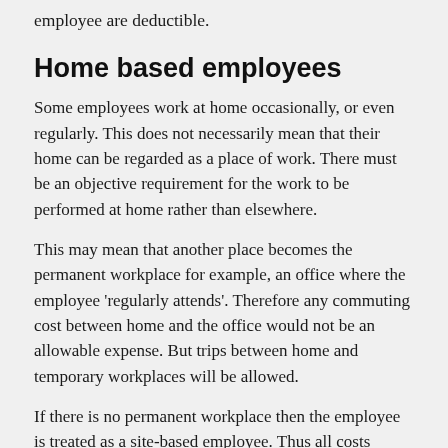employee are deductible.
Home based employees
Some employees work at home occasionally, or even regularly. This does not necessarily mean that their home can be regarded as a place of work. There must be an objective requirement for the work to be performed at home rather than elsewhere.
This may mean that another place becomes the permanent workplace for example, an office where the employee 'regularly attends'. Therefore any commuting cost between home and the office would not be an allowable expense. But trips between home and temporary workplaces will be allowed.
If there is no permanent workplace then the employee is treated as a site-based employee. Thus all costs would be allowed including the occasional trip to the employer's office.
The home may still be treated as a workplace under the